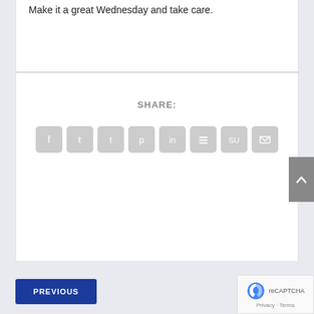Make it a great Wednesday and take care.
SHARE:
[Figure (infographic): Social share buttons: Facebook, Twitter, Tumblr, Pinterest, LinkedIn, Buffer, StumbleUpon, Email — all gray rounded square icons]
[Figure (infographic): Gray scroll-to-top button with upward chevron arrow on right edge]
PREVIOUS
N
[Figure (infographic): reCAPTCHA badge overlay showing recaptcha logo and Privacy - Terms text]